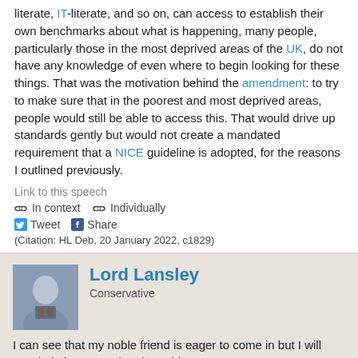literate, IT-literate, and so on, can access to establish their own benchmarks about what is happening, many people, particularly those in the most deprived areas of the UK, do not have any knowledge of even where to begin looking for these things. That was the motivation behind the amendment: to try to make sure that in the poorest and most deprived areas, people would still be able to access this. That would drive up standards gently but would not create a mandated requirement that a NICE guideline is adopted, for the reasons I outlined previously.
Link to this speech
In context   Individually
Tweet   Share
(Citation: HL Deb, 20 January 2022, c1829)
Lord Lansley
Conservative
I can see that my noble friend is eager to come in but I will conclude by answering the noble Baroness. I am not an expert, but I think the CQC has the powers—since it presently does it—to take account of the NICE quality standards and to incorporate specific